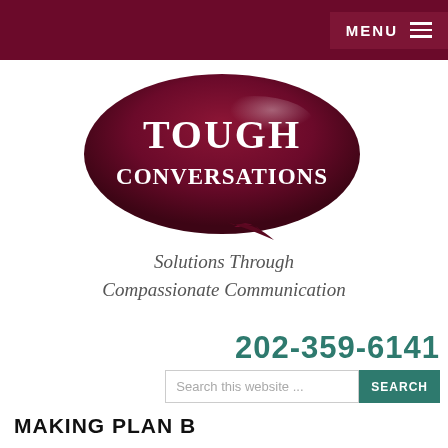MENU
[Figure (logo): Tough Conversations logo: dark red speech bubble with white serif text reading TOUGH CONVERSATIONS]
Solutions Through Compassionate Communication
202-359-6141
Search this website ...
MAKING PLAN B